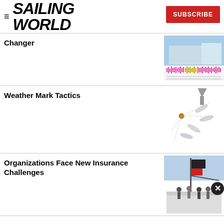SAILING WORLD
Changer
[Figure (photo): Sailing photo with audio waveform visualization below]
Weather Mark Tactics
[Figure (illustration): Illustration of boats at weather mark with arrow indicating direction]
Organizations Face New Insurance Challenges
[Figure (photo): Photo of people on deck of a sailing yacht with flags]